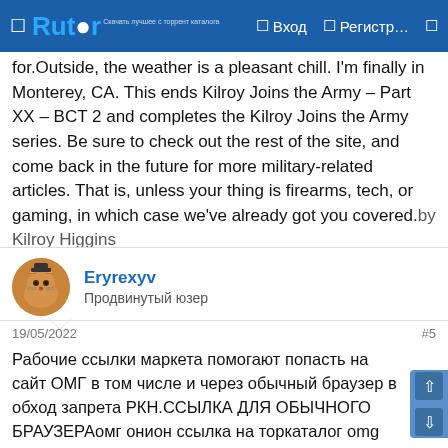Rutor — Вход — Регистр…
for.Outside, the weather is a pleasant chill. I'm finally in Monterey, CA. This ends Kilroy Joins the Army – Part XX – BCT 2 and completes the Kilroy Joins the Army series. Be sure to check out the rest of the site, and come back in the future for more military-related articles. That is, unless your thing is firearms, tech, or gaming, in which case we've already got you covered.by Kilroy Higgins
Eryrexyv
Продвинутый юзер
19/05/2022	#5
Рабочие ссылки маркета помогают попасть на сайт ОМГ в том числе и через обычный браузер в обход запрета РКН.ССЫЛКА ДЛЯ ОБЫЧНОГО БРАУЗЕРАомг онион ссылка на торкаталог omg onionomg browserссылка на гидру в тор браузеромg ONION ссылка на моментальные магазины в TORПлощадка с закладками повсюду: в телеграме, в onion